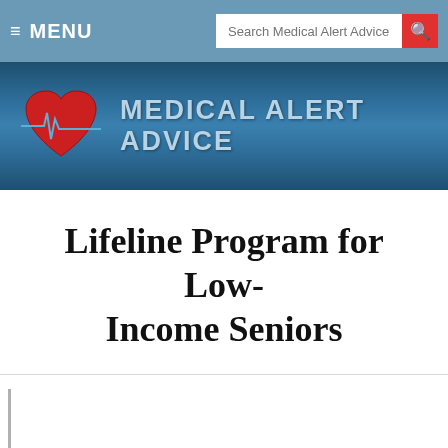≡ MENU  Search Medical Alert Advice
[Figure (logo): Medical Alert Advice website logo with red heart and EKG line on blue banner background, text reads MEDICAL ALERT ADVICE]
Lifeline Program for Low-Income Seniors